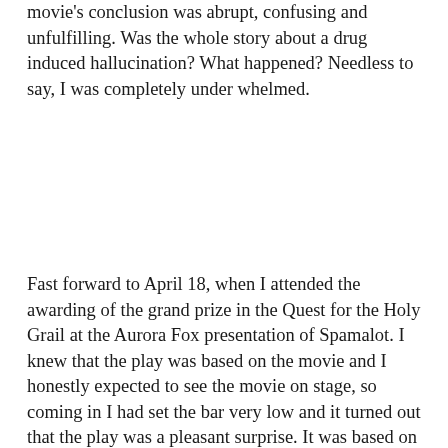movie's conclusion was abrupt, confusing and unfulfilling. Was the whole story about a drug induced hallucination? What happened? Needless to say, I was completely under whelmed.
Fast forward to April 18, when I attended the awarding of the grand prize in the Quest for the Holy Grail at the Aurora Fox presentation of Spamalot. I knew that the play was based on the movie and I honestly expected to see the movie on stage, so coming in I had set the bar very low and it turned out that the play was a pleasant surprise. It was based on the movie, but it was not the movie. There were parts that I simply did not understand, but the story was much tighter, the acting was much better. There was more music and more action and the ending was one that I could understand and relate to. Spamalot was a spoof of the Arthurian legend and it